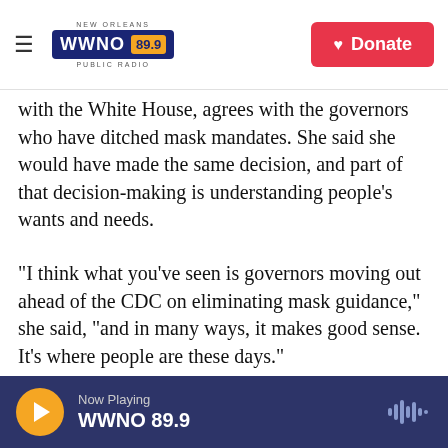NEW ORLEANS WWNO 89.9 PUBLIC RADIO | Donate
with the White House, agrees with the governors who have ditched mask mandates. She said she would have made the same decision, and part of that decision-making is understanding people's wants and needs.
"I think what you've seen is governors moving out ahead of the CDC on eliminating mask guidance," she said, "and in many ways, it makes good sense. It's where people are these days."
More than that, Sebelius noted that governors are often more able to understand what's needed in
Now Playing WWNO 89.9